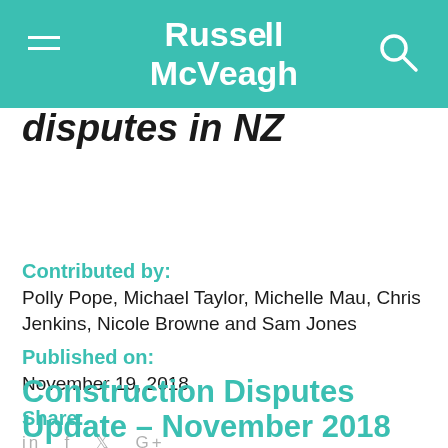Russell McVeagh
disputes in NZ
Contributed by:
Polly Pope, Michael Taylor, Michelle Mau, Chris Jenkins, Nicole Browne and Sam Jones
Published on:
November 19, 2018
Share:
in  f  ✦  G+
Construction Disputes Update – November 2018